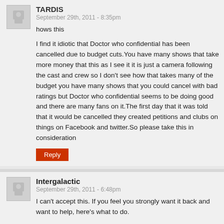TARDIS
September 29th, 2011 - 8:35pm
hows this
I find it idiotic that Doctor who confidential has been cancelled due to budget cuts.You have many shows that take more money that this as I see it it is just a camera following the cast and crew so I don't see how that takes many of the budget you have many shows that you could cancel with bad ratings but Doctor who confidential seems to be doing good and there are many fans on it.The first day that it was told that it would be cancelled they created petitions and clubs on things on Facebook and twitter.So please take this in consideration
Reply
Intergalactic
September 29th, 2011 - 6:48pm
I can't accept this. If you feel you strongly want it back and want to help, here's what to do.
First of all, make sure to drop the BBC a complaint (http://www.bbc.co.uk/complaints/). Chances are